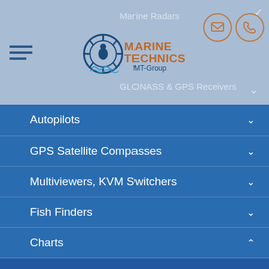Marine Radars / GLONASS & GPS Receivers — Marine Technics MT-Group
Autopilots
GPS Satellite Compasses
Multiviewers, KVM Switchers
Fish Finders
Charts
Koden GTD-110 Chart Plotter
Koden GTD-150 Chart Plotter